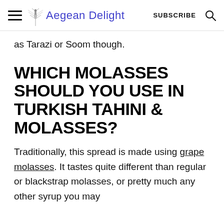Aegean Delight  SUBSCRIBE
as Tarazi or Soom though.
WHICH MOLASSES SHOULD YOU USE IN TURKISH TAHINI & MOLASSES?
Traditionally, this spread is made using grape molasses. It tastes quite different than regular or blackstrap molasses, or pretty much any other syrup you may